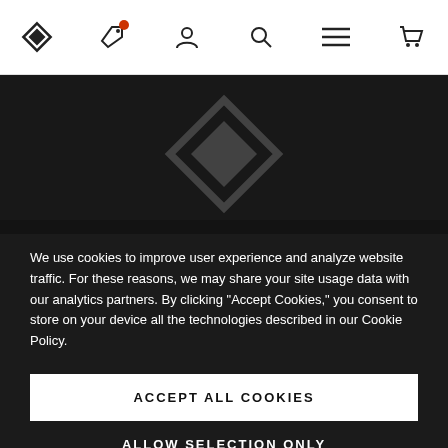Black Diamond navigation bar with logo, tag, user, search, menu, and cart icons
[Figure (screenshot): Dark hero background with faint Black Diamond logo watermark]
We use cookies to improve user experience and analyze website traffic. For these reasons, we may share your site usage data with our analytics partners. By clicking "Accept Cookies," you consent to store on your device all the technologies described in our Cookie Policy.
ACCEPT ALL COOKIES
ALLOW SELECTION ONLY
Necessary (checked)
Preferences
Statistics
Marketing